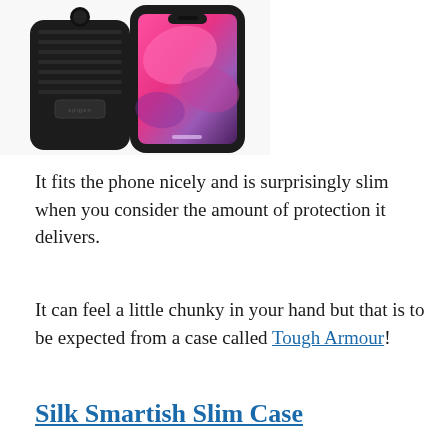[Figure (photo): Photo of a black Spigen Tough Armour phone case shown from two angles — back view and front view with an iPhone 11 inserted showing pink/purple wallpaper]
It fits the phone nicely and is surprisingly slim when you consider the amount of protection it delivers.
It can feel a little chunky in your hand but that is to be expected from a case called Tough Armour!
Silk Smartish Slim Case